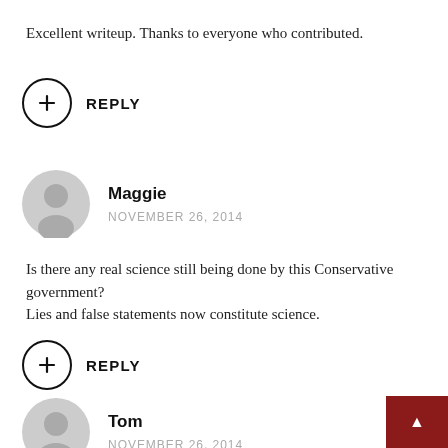Excellent writeup. Thanks to everyone who contributed.
+ REPLY
Maggie
NOVEMBER 26, 2014
Is there any real science still being done by this Conservative government?
Lies and false statements now constitute science.
+ REPLY
Tom
NOVEMBER 26, 2014